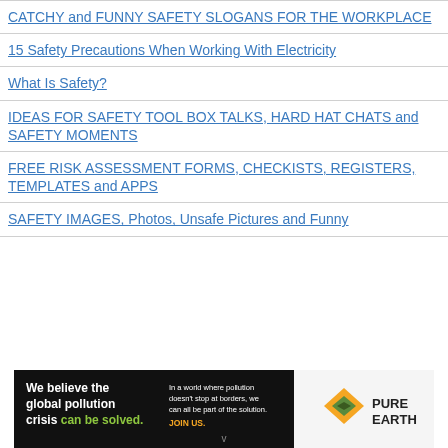CATCHY and FUNNY SAFETY SLOGANS FOR THE WORKPLACE
15 Safety Precautions When Working With Electricity
What Is Safety?
IDEAS FOR SAFETY TOOL BOX TALKS, HARD HAT CHATS and SAFETY MOMENTS
FREE RISK ASSESSMENT FORMS, CHECKISTS, REGISTERS, TEMPLATES and APPS
SAFETY IMAGES, Photos, Unsafe Pictures and Funny
[Figure (infographic): Pure Earth advertisement banner: black background with text 'We believe the global pollution crisis can be solved.' and 'In a world where pollution doesn't stop at borders, we can all be part of the solution. JOIN US.' with Pure Earth logo on the right.]
v